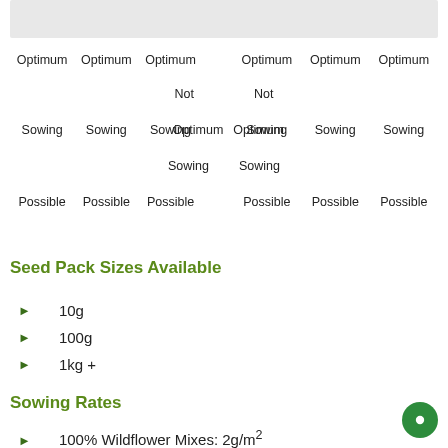[Figure (other): Grey banner/bar at top of page]
|  |  |  |  |  |  |  |  |  |
| --- | --- | --- | --- | --- | --- | --- | --- | --- |
| Optimum | Optimum | Optimum |  |  | Optimum | Optimum | Optimum |  |
|  |  |  | Not | Not |  |  |  |  |
| Sowing | Sowing | Sowing | Optimum | Optimum | Sowing | Sowing | Sowing |  |
|  |  |  | Sowing | Sowing |  |  |  |  |
| Possible | Possible | Possible |  |  | Possible | Possible | Possible |  |
Seed Pack Sizes Available
10g
100g
1kg +
Sowing Rates
100% Wildflower Mixes: 2g/m²